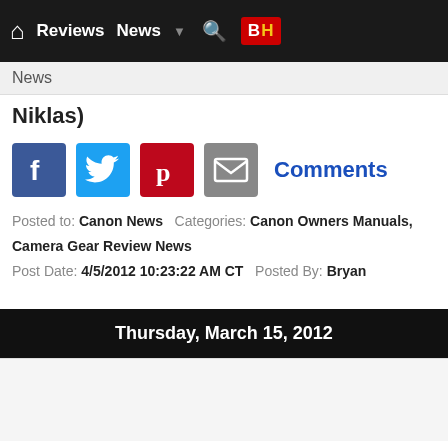Home  Reviews  News  ▼  🔍  B&H
News
Niklas)
[Figure (other): Social sharing icons: Facebook, Twitter, Pinterest, Email, and Comments link]
Posted to: Canon News   Categories: Canon Owners Manuals, Camera Gear Review News
Post Date: 4/5/2012 10:23:22 AM CT   Posted By: Bryan
Thursday, March 15, 2012